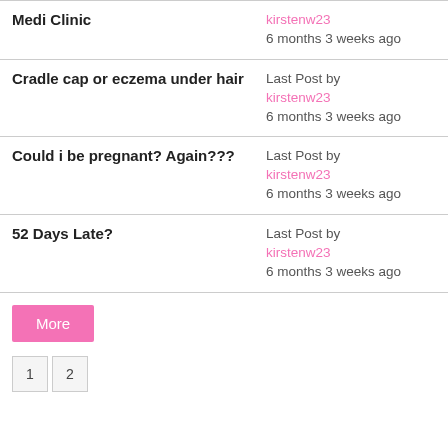Medi Clinic — kirstenw23 6 months 3 weeks ago
Cradle cap or eczema under hair — Last Post by kirstenw23 6 months 3 weeks ago
Could i be pregnant? Again??? — Last Post by kirstenw23 6 months 3 weeks ago
52 Days Late? — Last Post by kirstenw23 6 months 3 weeks ago
More
1  2